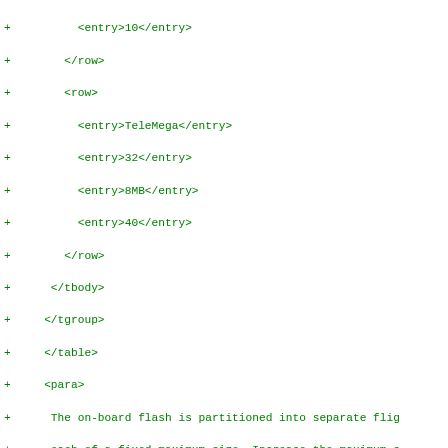Diff/patch code block showing XML documentation source with added lines (+) including table entries for TeleMega with 32 channels, 8MB, 40; closing XML tags; and paragraphs about on-board flash partitioning, configuration data storage, and computing space needed for flight logs.